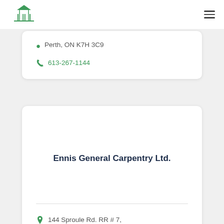Navigation header with logo and hamburger menu
Perth, ON K7H 3C9
613-267-1144
Ennis General Carpentry Ltd.
144 Sproule Rd. RR # 7, Perth, ON K7H 3C9
(613) 264-0208